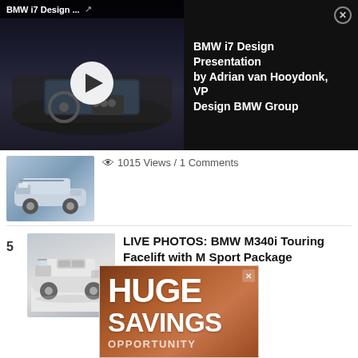[Figure (screenshot): BMW i7 Design Presentation video overlay with dark interior car thumbnail, play button, and title panel showing 'BMW i7 Design Presentation by Adrian van Hooydonk, VP Design BMW Group']
1015 Views / 1 Comments
5  LIVE PHOTOS: BMW M340i Touring Facelift with M Sport Package
937 Views / 1 Comments
[Figure (photo): Advertisement banner showing 'HUGE SAVINGS OPPORTUNITY' on a rusty/copper textured background]